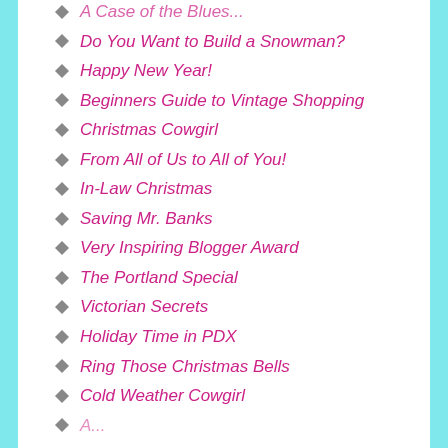A Case of the Blues...
Do You Want to Build a Snowman?
Happy New Year!
Beginners Guide to Vintage Shopping
Christmas Cowgirl
From All of Us to All of You!
In-Law Christmas
Saving Mr. Banks
Very Inspiring Blogger Award
The Portland Special
Victorian Secrets
Holiday Time in PDX
Ring Those Christmas Bells
Cold Weather Cowgirl
A...